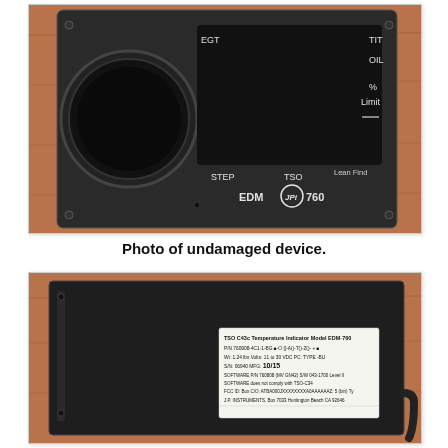[Figure (photo): Photo of the front face of a JPI EDM 760 engine data monitor instrument. The device is black with a dark screen, mounted on a wood-grain surface. Labels visible include EGT, TIT, OIL, % Limit, STEP, TSO, Lean Find, and the model designation EDM (JPI logo) 760.]
Photo of undamaged device.
[Figure (photo): Photo of the back/rear panel of the JPI EDM 760 device showing a data plate label. The label reads: TSO C43c Temperature Indicator Model EDM-760, P/N 760908-4C1-1-BG, Wt: 1.24 lbs, Volts: 11 to 30 VDC, PC: TYPE -BU, S/N: 06940, MFG: 10/15, SOFTWARE P/N 760808, SOFTWARE does not comply with TSO-C34. J.P. INSTRUMENTS, Box 7033 Huntington Beach CA 92646.]